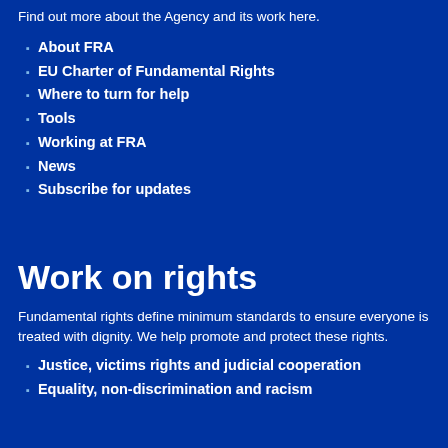Find out more about the Agency and its work here.
About FRA
EU Charter of Fundamental Rights
Where to turn for help
Tools
Working at FRA
News
Subscribe for updates
Work on rights
Fundamental rights define minimum standards to ensure everyone is treated with dignity. We help promote and protect these rights.
Justice, victims rights and judicial cooperation
Equality, non-discrimination and racism